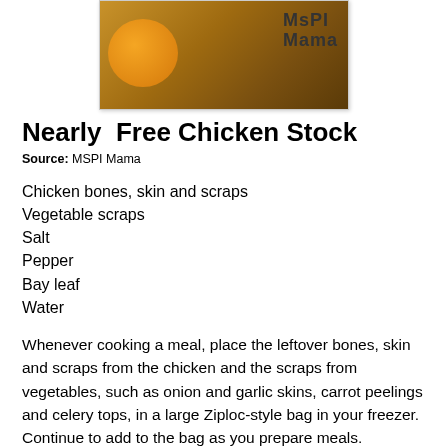[Figure (photo): Photo of golden chicken stock in a jar/container with 'MSPI Mama' text overlay, shown against a dark background.]
Nearly  Free Chicken Stock
Source: MSPI Mama
Chicken bones, skin and scraps
Vegetable scraps
Salt
Pepper
Bay leaf
Water
Whenever cooking a meal, place the leftover bones, skin and scraps from the chicken and the scraps from vegetables, such as onion and garlic skins, carrot peelings and celery tops, in a large Ziploc-style bag in your freezer. Continue to add to the bag as you prepare meals.